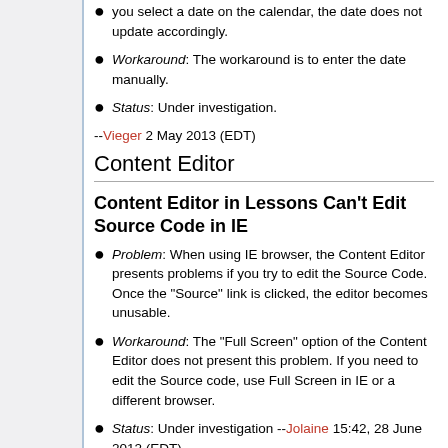Workaround: The workaround is to enter the date manually.
Status: Under investigation.
--Vieger 2 May 2013 (EDT)
Content Editor
Content Editor in Lessons Can't Edit Source Code in IE
Problem: When using IE browser, the Content Editor presents problems if you try to edit the Source Code. Once the "Source" link is clicked, the editor becomes unusable.
Workaround: The "Full Screen" option of the Content Editor does not present this problem. If you need to edit the Source code, use Full Screen in IE or a different browser.
Status: Under investigation --Jolaine 15:42, 28 June 2012 (EDT)